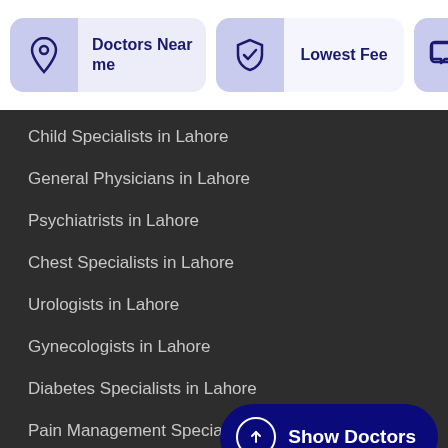[Figure (screenshot): Filter buttons row: 'Doctors Near me' with location pin icon, 'Lowest Fee' with shield icon, and a partial third button with chat icon]
Child Specialists in Lahore
General Physicians in Lahore
Psychiatrists in Lahore
Chest Specialists in Lahore
Urologists in Lahore
Gynecologists in Lahore
Diabetes Specialists in Lahore
Pain Management Specialists in La…
Consultant Physicians in Lahore
Useful links